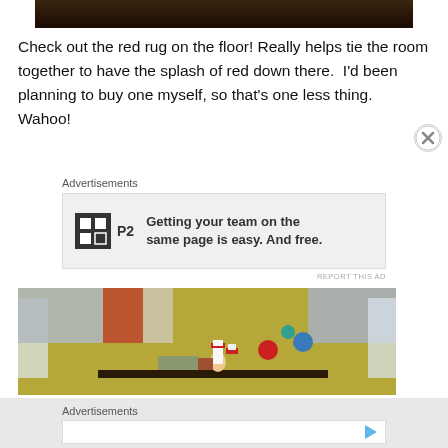[Figure (photo): Top portion of a room photo cropped at top of page]
Check out the red rug on the floor! Really helps tie the room together to have the splash of red down there.  I'd been planning to buy one myself, so that's one less thing.  Wahoo!
Advertisements
[Figure (screenshot): Advertisement banner for P2 team collaboration tool: 'Getting your team on the same page is easy. And free.']
REPORT THIS AD
[Figure (photo): Room photo showing yellow walls with colorful curtains, Dr. Seuss decorations on a shelf including Cat in the Hat figurine and colorful trees]
Advertisements
[Figure (screenshot): Advertisement banner with play button]